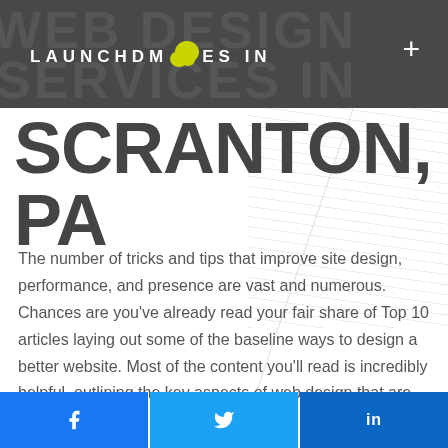LAUNCHDM8CES IN (logo with blob icon)
SCRANTON, PA
The number of tricks and tips that improve site design, performance, and presence are vast and numerous. Chances are you've already read your fair share of Top 10 articles laying out some of the baseline ways to design a better website. Most of the content you'll read is incredibly helpful, outlining the key aspects of web design that are often neglected or forgotten in the
Facebook | Twitter | LinkedIn social share buttons